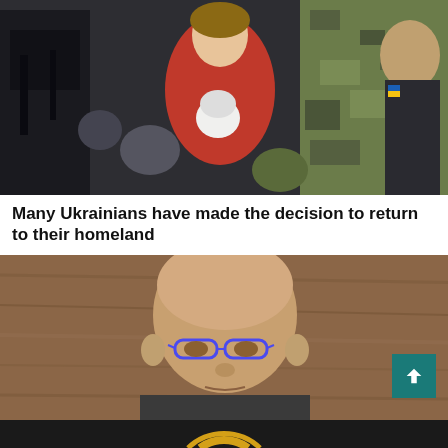[Figure (photo): People in a crowd, woman in red jacket holding a child in a white hat, military figures in camouflage nearby]
Many Ukrainians have made the decision to return to their homeland
[Figure (photo): Portrait of a bald man wearing glasses, in front of a wooden background, grey area to the right]
Dario Martinelli: arts and culture as a weapon of war
[Figure (photo): Bottom portion of page showing a dark background with a partial circular logo visible]